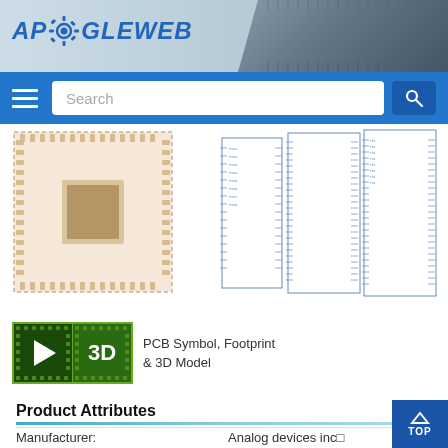APOGEWEB
[Figure (screenshot): Search bar navigation with hamburger menu and search icon on blue background]
[Figure (engineering-diagram): PCB footprint image showing QFP chip package with orange/beige pad and grey die area]
[Figure (schematic): PCB schematic symbol drawings showing component pin layout from multiple views]
[Figure (logo): PCB Symbol, Footprint & 3D Model badge icons with green bordered play button and 3D text]
PCB Symbol, Footprint & 3D Model
Product Attributes
| Attribute | Value |
| --- | --- |
| Manufacturer: | Analog devices inc□ |
| Series: | Blackfin® |
| Packaging: | Tray |